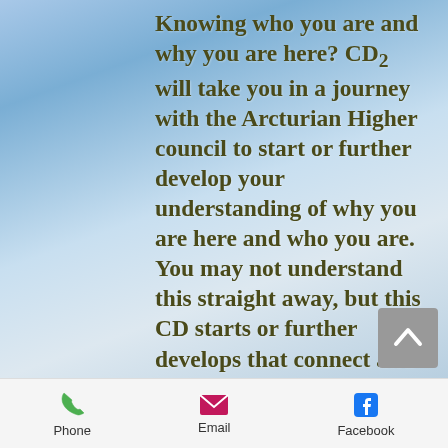Knowing who you are and why you are here? CD2 will take you in a journey with the Arcturian Higher council to start or further develop your understanding of why you are here and who you are. You may not understand this straight away, but this CD starts or further develops that connect and awareness and also opens
[Figure (screenshot): Mobile app footer bar with Phone (green phone icon), Email (pink envelope icon), and Facebook (blue Facebook icon) navigation items]